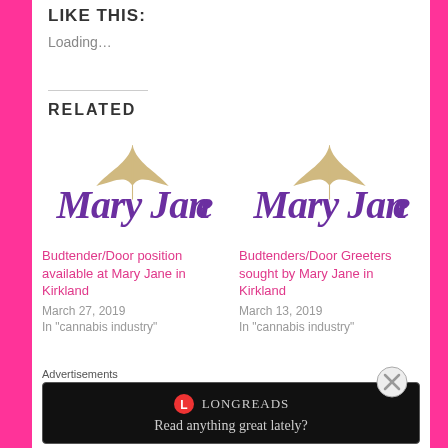LIKE THIS:
Loading...
RELATED
[Figure (logo): Mary Jane cannabis brand logo with purple script text and gold leaf, first instance]
Budtender/Door position available at Mary Jane in Kirkland
March 27, 2019
In "cannabis industry"
[Figure (logo): Mary Jane cannabis brand logo with purple script text and gold leaf, second instance]
Budtenders/Door Greeters sought by Mary Jane in Kirkland
March 13, 2019
In "cannabis industry"
Advertisements
[Figure (screenshot): Longreads advertisement banner: dark background with Longreads logo and text 'Read anything great lately?']